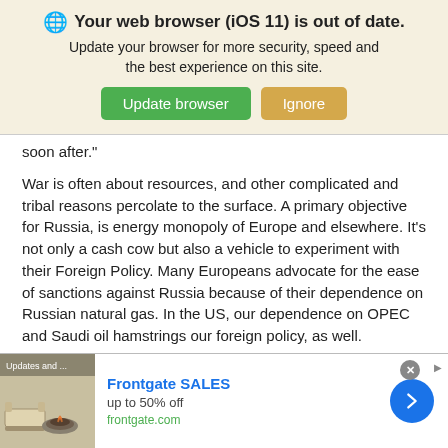[Figure (screenshot): Browser update notification banner with globe icon, bold text 'Your web browser (iOS 11) is out of date.', subtitle 'Update your browser for more security, speed and the best experience on this site.', a green 'Update browser' button and an orange 'Ignore' button.]
soon after."
War is often about resources, and other complicated and tribal reasons percolate to the surface. A primary objective for Russia, is energy monopoly of Europe and elsewhere. It's not only a cash cow but also a vehicle to experiment with their Foreign Policy. Many Europeans advocate for the ease of sanctions against Russia because of their dependence on Russian natural gas. In the US, our dependence on OPEC and Saudi oil hamstrings our foreign policy, as well.
Eventually, both of these dynamics, Russian natural gas in...
[Figure (screenshot): Advertisement banner for Frontgate SALES: outdoor furniture image on left, 'Frontgate SALES' title in blue, 'up to 50% off' subtitle, 'frontgate.com' URL in green, blue circular arrow button on right. Close button (X) and external arrow icon at top right.]